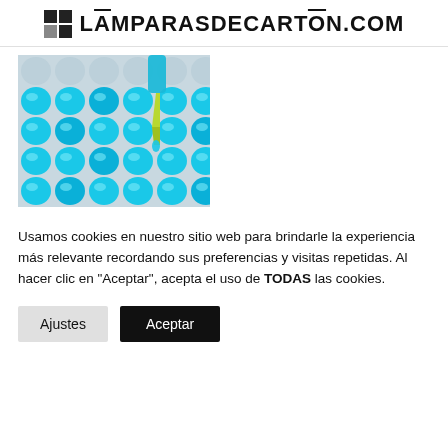LĀMPARASDECARTŌN.COM
[Figure (photo): Close-up photo of blue liquid-filled wells in a laboratory multi-well plate, with a pipette tip dispensing blue liquid into one of the wells.]
Usamos cookies en nuestro sitio web para brindarle la experiencia más relevante recordando sus preferencias y visitas repetidas. Al hacer clic en "Aceptar", acepta el uso de TODAS las cookies.
Ajustes   Aceptar